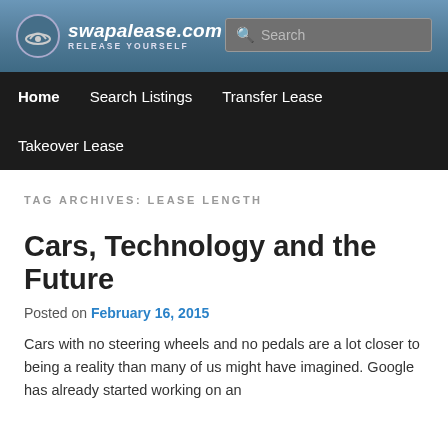swapalease.com — RELEASE YOURSELF
Home
Search Listings
Transfer Lease
Takeover Lease
TAG ARCHIVES: LEASE LENGTH
Cars, Technology and the Future
Posted on February 16, 2015
Cars with no steering wheels and no pedals are a lot closer to being a reality than many of us might have imagined. Google has already started working on an autonomous car and has gotten the car available to the